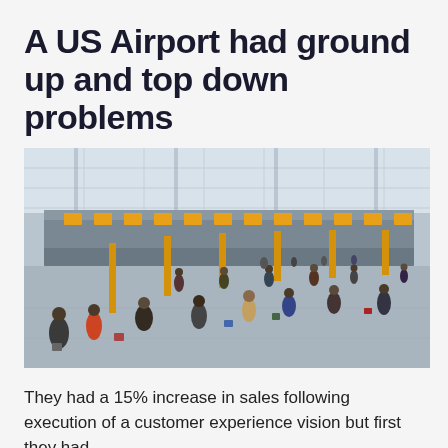A US Airport had ground up and top down problems
[Figure (photo): Aerial/overhead view of a busy airport terminal check-in hall with passengers walking with luggage, yellow kiosks and check-in counters visible, modern glass-ceiling architecture.]
They had a 15% increase in sales following execution of a customer experience vision but first they had